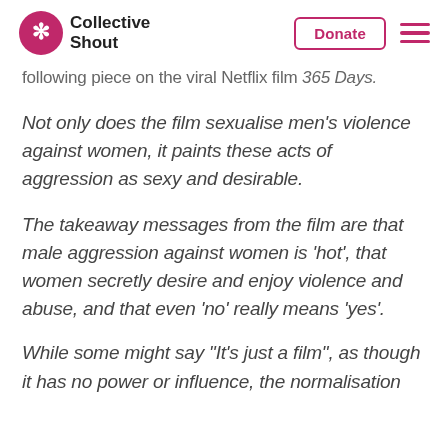Collective Shout | Donate
following piece on the viral Netflix film 365 Days.
Not only does the film sexualise men’s violence against women, it paints these acts of aggression as sexy and desirable.
The takeaway messages from the film are that male aggression against women is ‘hot’, that women secretly desire and enjoy violence and abuse, and that even ‘no’ really means ‘yes’.
While some might say “It’s just a film”, as though it has no power or influence, the normalisation